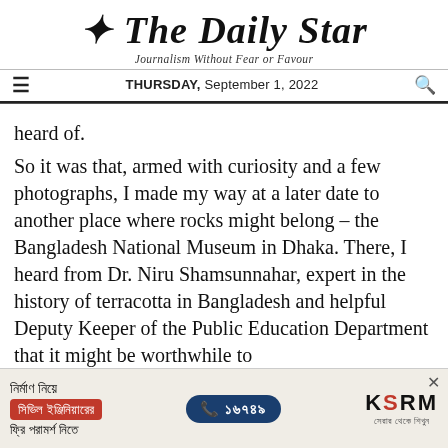The Daily Star
Journalism Without Fear or Favour
THURSDAY, September 1, 2022
heard of.
So it was that, armed with curiosity and a few photographs, I made my way at a later date to another place where rocks might belong – the Bangladesh National Museum in Dhaka. There, I heard from Dr. Niru Shamsunnahar, expert in the history of terracotta in Bangladesh and helpful Deputy Keeper of the Public Education Department that it might be worthwhile to
[Figure (other): Advertisement banner for KSRM construction/civil engineering services in Bengali, with red button, phone number 16749, KSRM logo, and close button.]